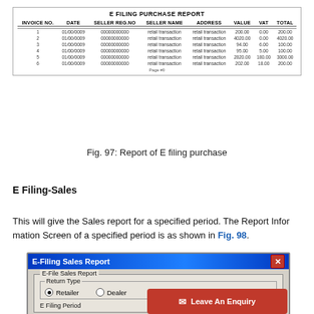[Figure (screenshot): E Filing Purchase Report table showing invoice records with columns: Invoice No., Date, Seller Reg.No, Seller Name, Address, Value, VAT, Total. Six rows of data with retail transactions, followed by a page number indicator.]
Fig. 97: Report of E filing purchase
E Filing-Sales
This will give the Sales report for a specified period. The Report Information Screen of a specified period is as shown in Fig. 98.
[Figure (screenshot): E-Filing Sales Report dialog window showing E-File Sales Report group box with Return Type options (Retailer selected, Dealer unselected) and E Filing Period section.]